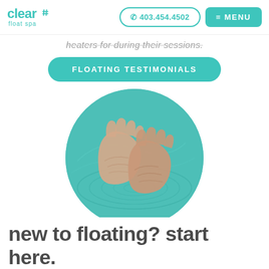clear float spa | 403.454.4502 | MENU
heaters for during their sessions.
FLOATING TESTIMONIALS
[Figure (photo): Circular cropped photo of two open hands facing upward over a teal/turquoise water surface with ripples.]
new to floating? start here.